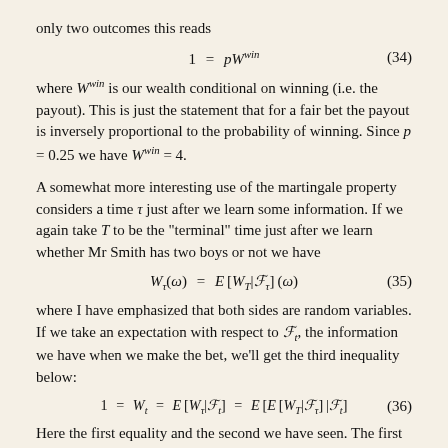only two outcomes this reads
where W^win is our wealth conditional on winning (i.e. the payout). This is just the statement that for a fair bet the payout is inversely proportional to the probability of winning. Since p = 0.25 we have W^win = 4.
A somewhat more interesting use of the martingale property considers a time τ just after we learn some information. If we again take T to be the "terminal" time just after we learn whether Mr Smith has two boys or not we have
where I have emphasized that both sides are random variables. If we take an expectation with respect to F_t, the information we have when we make the bet, we'll get the third inequality below:
Here the first equality and the second we have seen. The first is our